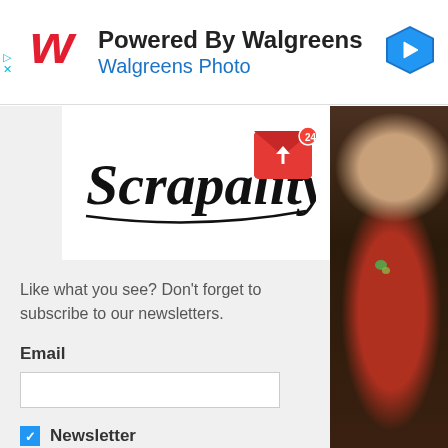[Figure (screenshot): Walgreens advertisement banner showing Walgreens logo with 'Powered By Walgreens' and 'Walgreens Photo' text, and a blue navigation arrow icon on the right. Skip/close controls on the left.]
[Figure (logo): Scrapality brand logo in cursive script with a red mail/envelope icon on the right side]
Like what you see?  Don't forget to subscribe to our newsletters.
Email
Newsletter
[Figure (photo): A woman with brown hair wearing a red long-sleeve top, looking downward, photographed against a dark warm-toned background with a green bokeh light]